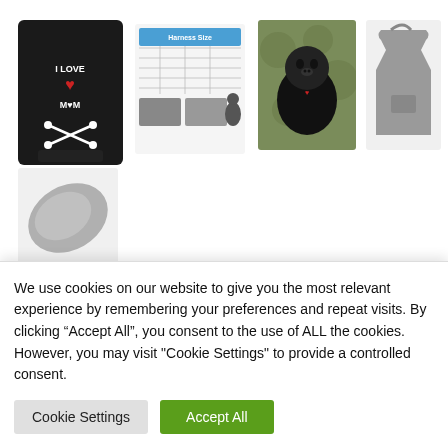[Figure (photo): Row of product images: black dog hoodie with 'I Love Mom' text, sizing chart document, dog wearing hoodie photo, gray dog hoodie side view, gray fabric/blanket item]
EXPAWLORER Small Dog
We use cookies on our website to give you the most relevant experience by remembering your preferences and repeat visits. By clicking “Accept All”, you consent to the use of ALL the cookies. However, you may visit "Cookie Settings" to provide a controlled consent.
Cookie Settings | Accept All